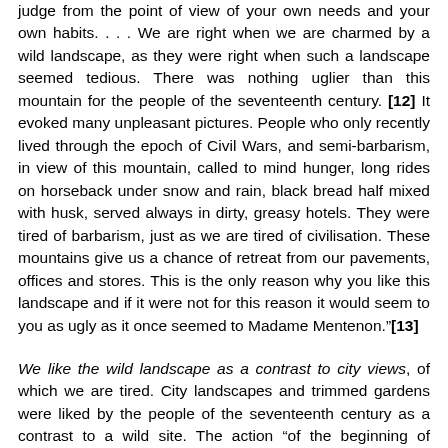judge from the point of view of your own needs and your own habits. . . . We are right when we are charmed by a wild landscape, as they were right when such a landscape seemed tedious. There was nothing uglier than this mountain for the people of the seventeenth century. [12] It evoked many unpleasant pictures. People who only recently lived through the epoch of Civil Wars, and semi-barbarism, in view of this mountain, called to mind hunger, long rides on horseback under snow and rain, black bread half mixed with husk, served always in dirty, greasy hotels. They were tired of barbarism, just as we are tired of civilisation. These mountains give us a chance of retreat from our pavements, offices and stores. This is the only reason why you like this landscape and if it were not for this reason it would seem to you as ugly as it once seemed to Madame Mentenon."[13]
We like the wild landscape as a contrast to city views, of which we are tired. City landscapes and trimmed gardens were liked by the people of the seventeenth century as a contrast to a wild site. The action “of the beginning of antithesis” is here undoubtedly patent. But just because there is no doubt, it clearly shows us to what extent psychological laws can serve as a source of explanation of